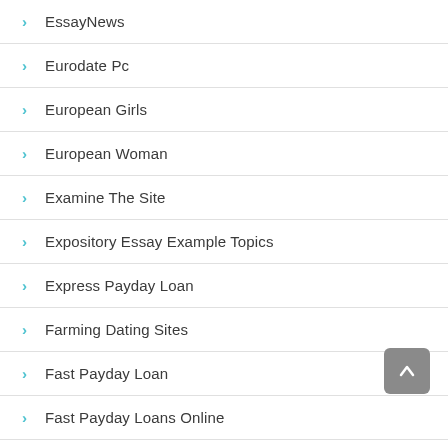EssayNews
Eurodate Pc
European Girls
European Woman
Examine The Site
Expository Essay Example Topics
Express Payday Loan
Farming Dating Sites
Fast Payday Loan
Fast Payday Loans Online